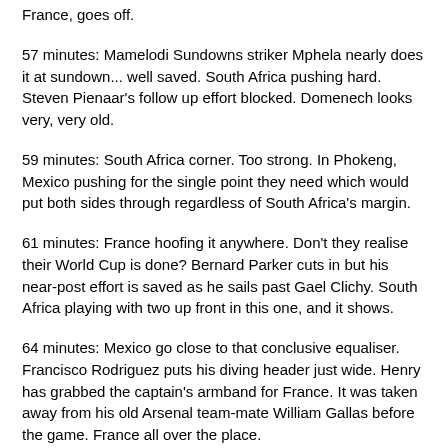France, goes off.
57 minutes: Mamelodi Sundowns striker Mphela nearly does it at sundown... well saved. South Africa pushing hard. Steven Pienaar's follow up effort blocked. Domenech looks very, very old.
59 minutes: South Africa corner. Too strong. In Phokeng, Mexico pushing for the single point they need which would put both sides through regardless of South Africa's margin.
61 minutes: France hoofing it anywhere. Don't they realise their World Cup is done? Bernard Parker cuts in but his near-post effort is saved as he sails past Gael Clichy. South Africa playing with two up front in this one, and it shows.
64 minutes: Mexico go close to that conclusive equaliser. Francisco Rodriguez puts his diving header just wide. Henry has grabbed the captain's armband for France. It was taken away from his old Arsenal team-mate William Gallas before the game. France all over the place.